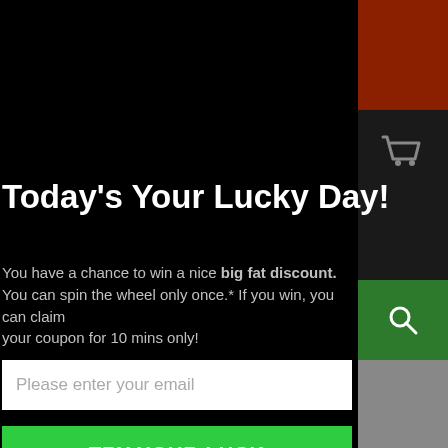Today's Your Lucky Day!
You have a chance to win a nice big fat discount. You can spin the wheel only once.* If you win, you can claim your coupon for 10 mins only!
Please enter your email
TRY YOUR LUCK
No, I don't feel lucky